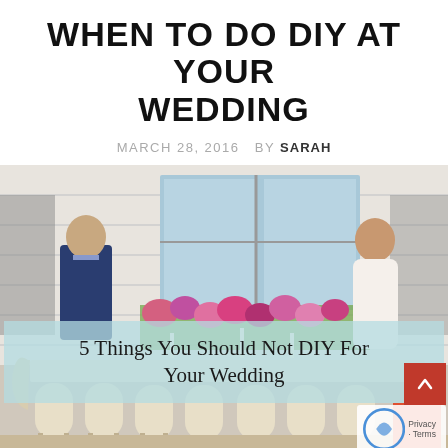WHEN TO DO DIY AT YOUR WEDDING
MARCH 28, 2016  BY SARAH
[Figure (photo): Wedding styled shoot inside a loft space with white brick walls and large windows. A groom in a navy suit stands on the left, a bride in a white gown stands on the right. A long rectangular table is in the foreground surrounded by French provincial chairs. Pink and purple floral arrangements run along the center of the table and behind it.]
5 Things You Should Not DIY For Your Wedding